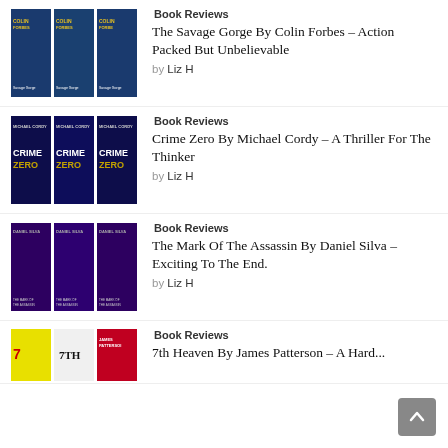[Figure (illustration): Three book covers for 'The Savage Gorge' by Colin Forbes, tiled three times side by side, blue/teal action theme]
Book Reviews
The Savage Gorge By Colin Forbes – Action Packed But Unbelievable
by Liz H
[Figure (illustration): Three book covers for 'Crime Zero' by Michael Cordy, tiled three times side by side, dark blue sci-fi theme]
Book Reviews
Crime Zero By Michael Cordy – A Thriller For The Thinker
by Liz H
[Figure (illustration): Three book covers for 'The Mark of the Assassin' by Daniel Silva, tiled three times side by side, purple/dark theme]
Book Reviews
The Mark Of The Assassin By Daniel Silva – Exciting To The End.
by Liz H
[Figure (illustration): Three book covers for '7th Heaven' by James Patterson, partially visible at bottom]
Book Reviews
7th Heaven By James Patterson – A Hard...